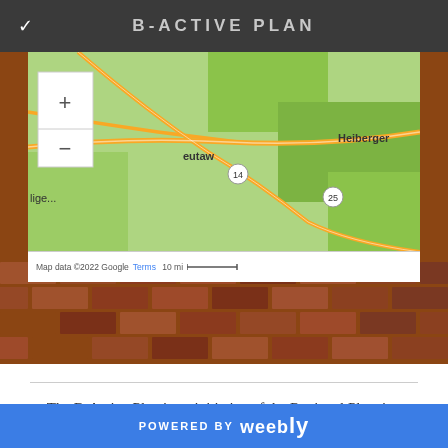B-ACTIVE PLAN
[Figure (map): Google Maps screenshot showing a regional area with roads, green terrain, and labels including Eutaw, Heiberger, route markers 14 and 25. Map controls (+ and -) visible. Map data ©2022 Google, Terms, 10 mi scale bar shown.]
The B-Active Plan is an initiative of the Regional Planning Commission of Greater Birmingham (RPCGB), to learn
POWERED BY weebly